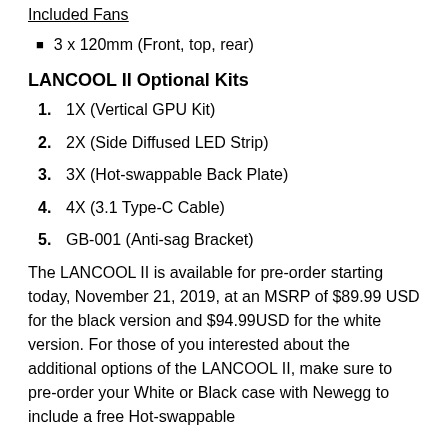Included Fans
3 x 120mm (Front, top, rear)
LANCOOL II Optional Kits
1X (Vertical GPU Kit)
2X (Side Diffused LED Strip)
3X (Hot-swappable Back Plate)
4X (3.1 Type-C Cable)
GB-001 (Anti-sag Bracket)
The LANCOOL II is available for pre-order starting today, November 21, 2019, at an MSRP of $89.99 USD for the black version and $94.99USD for the white version. For those of you interested about the additional options of the LANCOOL II, make sure to pre-order your White or Black case with Newegg to include a free Hot-swappable